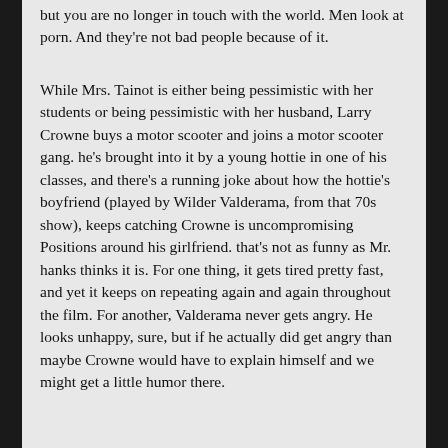but you are no longer in touch with the world. Men look at porn. And they're not bad people because of it.
While Mrs. Tainot is either being pessimistic with her students or being pessimistic with her husband, Larry Crowne buys a motor scooter and joins a motor scooter gang. he's brought into it by a young hottie in one of his classes, and there's a running joke about how the hottie's boyfriend (played by Wilder Valderama, from that 70s show), keeps catching Crowne is uncompromising Positions around his girlfriend. that's not as funny as Mr. hanks thinks it is. For one thing, it gets tired pretty fast, and yet it keeps on repeating again and again throughout the film. For another, Valderama never gets angry. He looks unhappy, sure, but if he actually did get angry than maybe Crowne would have to explain himself and we might get a little humor there.